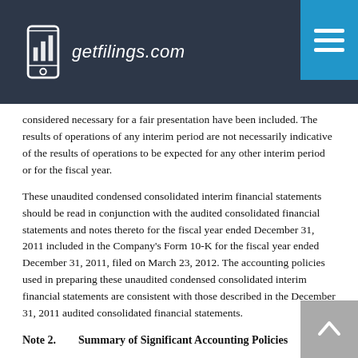getfilings.com
considered necessary for a fair presentation have been included. The results of operations of any interim period are not necessarily indicative of the results of operations to be expected for any other interim period or for the fiscal year.
These unaudited condensed consolidated interim financial statements should be read in conjunction with the audited consolidated financial statements and notes thereto for the fiscal year ended December 31, 2011 included in the Company's Form 10-K for the fiscal year ended December 31, 2011, filed on March 23, 2012. The accounting policies used in preparing these unaudited condensed consolidated interim financial statements are consistent with those described in the December 31, 2011 audited consolidated financial statements.
Note 2.        Summary of Significant Accounting Policies
(Loss) Earnings Per Share - Basic (loss) earnings per share is computed by dividing the net (loss) income by the weighted average number of common shares outstanding during the period. Diluted (loss) earnings adjusts basic (loss) earnings per share for the effects of convertible securities, stock options and other potentially dilutive financial instruments, only in the periods in which such effect is dilutive. Securities that could potentially